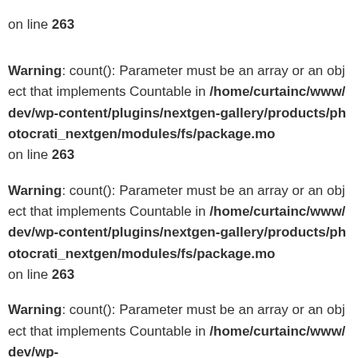on line 263
Warning: count(): Parameter must be an array or an object that implements Countable in /home/curtainc/www/dev/wp-content/plugins/nextgen-gallery/products/photocrati_nextgen/modules/fs/package.mo on line 263
Warning: count(): Parameter must be an array or an object that implements Countable in /home/curtainc/www/dev/wp-content/plugins/nextgen-gallery/products/photocrati_nextgen/modules/fs/package.mo on line 263
Warning: count(): Parameter must be an array or an object that implements Countable in /home/curtainc/www/dev/wp-